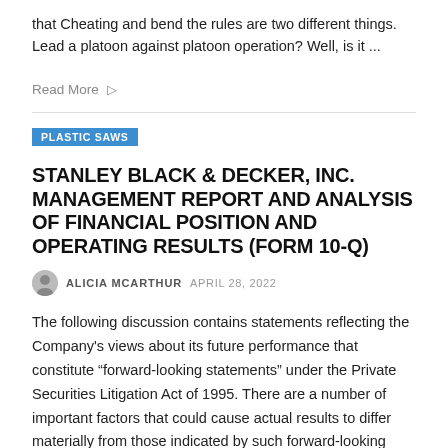that Cheating and bend the rules are two different things. Lead a platoon against platoon operation? Well, is it ...
Read More
PLASTIC SAWS
STANLEY BLACK & DECKER, INC. MANAGEMENT REPORT AND ANALYSIS OF FINANCIAL POSITION AND OPERATING RESULTS (FORM 10-Q)
ALICIA MCARTHUR  APRIL 28, 2022
The following discussion contains statements reflecting the Company's views about its future performance that constitute “forward-looking statements” under the Private Securities Litigation Act of 1995. There are a number of important factors that could cause actual results to differ materially from those indicated by such forward-looking